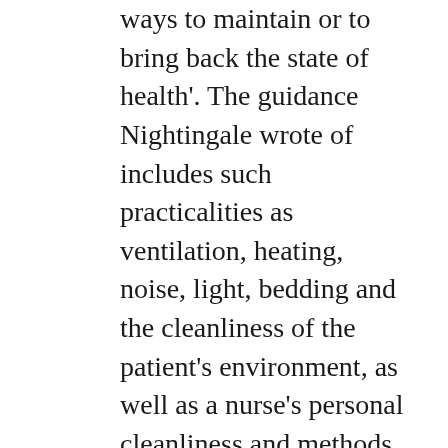ways to maintain or to bring back the state of health'. The guidance Nightingale wrote of includes such practicalities as ventilation, heating, noise, light, bedding and the cleanliness of the patient's environment, as well as a nurse's personal cleanliness and methods of observation. The pioneering work of Florence Nightingale and her effort to structure the care of the unwell has since earned her recognition as one of the world's founders of modern nursing. Over 160 years later, the observations of the sick by Florence Nightingale are astonishingly similar, which is why Notes on Nursing is as practical as it is captivating.